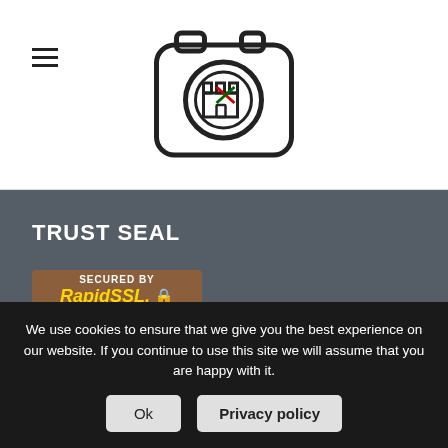[Figure (logo): Camera-shaped logo with castle/house icon inside, with red and green accent marks]
TRUST SEAL
[Figure (logo): RapidSSL secured badge - brown background with gold text reading SECURED BY RapidSSL with lock icon and $10,000 Warranty]
CONTACT
Caminha
We use cookies to ensure that we give you the best experience on our website. If you continue to use this site we will assume that you are happy with it.
Ok
Privacy policy